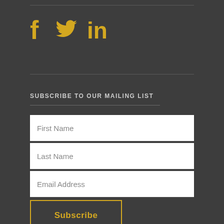[Figure (illustration): Social media icons: Facebook (f), Twitter (bird), LinkedIn (in) displayed in golden/yellow color on dark background]
SUBSCRIBE TO OUR MAILING LIST
First Name
Last Name
Email Address
Subscribe